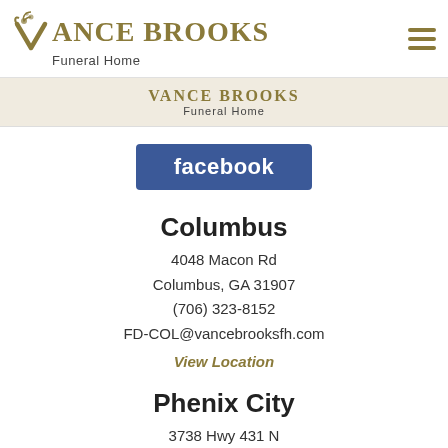Vance Brooks Funeral Home
[Figure (logo): Vance Brooks Funeral Home logo with decorative leaf and V letterform in gold/olive color]
Vance Brooks Funeral Home (secondary header)
[Figure (logo): Facebook button - blue rounded rectangle with white bold text 'facebook']
Columbus
4048 Macon Rd
Columbus, GA 31907
(706) 323-8152
FD-COL@vancebrooksfh.com
View Location
Phenix City
3738 Hwy 431 N
Phenix City, AL 36867